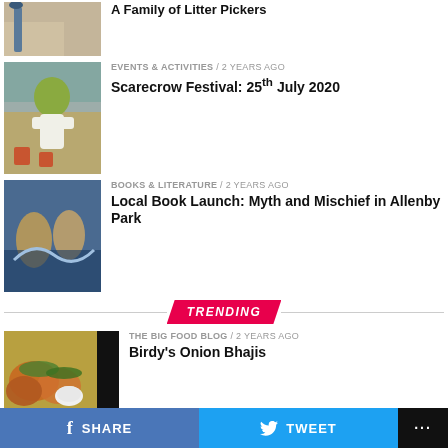[Figure (photo): Top article thumbnail - garden/litter picker image]
[Figure (photo): Scarecrow Festival article thumbnail - Shrek scarecrow figure]
EVENTS & ACTIVITIES / 2 years ago
Scarecrow Festival: 25th July 2020
[Figure (photo): Book launch article thumbnail - painting/illustration]
BOOKS & LITERATURE / 2 years ago
Local Book Launch: Myth and Mischief in Allenby Park
TRENDING
[Figure (photo): Birdy's Onion Bhajis food blog thumbnail]
THE BIG FOOD BLOG / 2 years ago
Birdy's Onion Bhajis